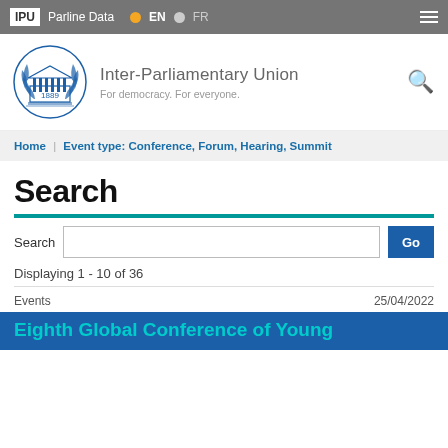IPU | Parline Data | EN | FR
[Figure (logo): Inter-Parliamentary Union logo with laurel wreath and parliament building, year 1889]
Inter-Parliamentary Union
For democracy. For everyone.
Home | Event type: Conference, Forum, Hearing, Summit
Search
Displaying 1 - 10 of 36
Events
25/04/2022
Eighth Global Conference of Young